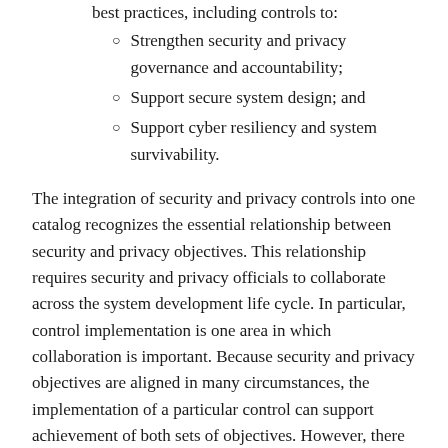best practices, including controls to:
Strengthen security and privacy governance and accountability;
Support secure system design; and
Support cyber resiliency and system survivability.
The integration of security and privacy controls into one catalog recognizes the essential relationship between security and privacy objectives. This relationship requires security and privacy officials to collaborate across the system development life cycle. In particular, control implementation is one area in which collaboration is important. Because security and privacy objectives are aligned in many circumstances, the implementation of a particular control can support achievement of both sets of objectives. However, there are also circumstances when controls are implemented differently to achieve the respective objectives, or the method of implementation can impact the objectives of the other program. Thus, it is important that security and privacy